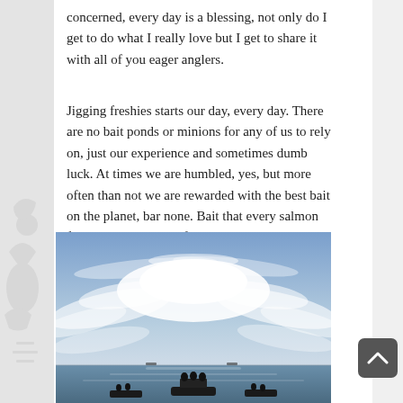concerned, every day is a blessing, not only do I get to do what I really love but I get to share it with all of you eager anglers.
Jigging freshies starts our day, every day. There are no bait ponds or minions for any of us to rely on, just our experience and sometimes dumb luck. At times we are humbled, yes, but more often than not we are rewarded with the best bait on the planet, bar none. Bait that every salmon fisherman on the pacific envies!
[Figure (photo): Wide-angle photo taken from a boat on open water showing a dramatic cloudy sky with wispy clouds spreading across a blue sky, calm water visible at the horizon, and silhouettes of people on boats in the foreground.]